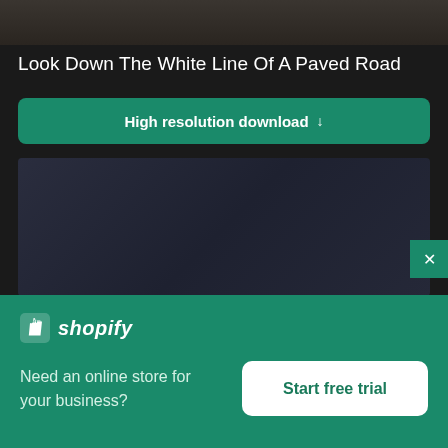[Figure (photo): Top portion of a stock photo — dark road/pavement scene, partially cropped at top of page]
Look Down The White Line Of A Paved Road
High resolution download ↓
[Figure (photo): Preview image placeholder with dark blue-gray gradient background (blurred/obscured stock photo preview)]
[Figure (screenshot): Shopify advertisement banner: Shopify logo, text 'Need an online store for your business?', and 'Start free trial' button]
Need an online store for your business?
Start free trial